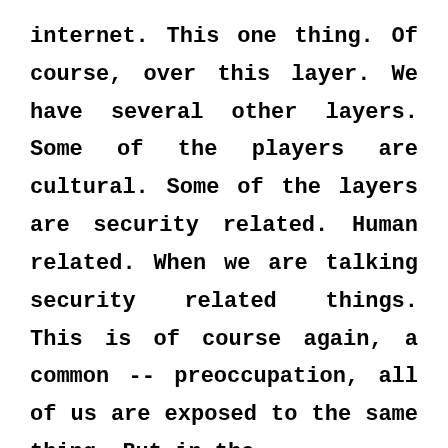internet. This one thing. Of course, over this layer. We have several other layers. Some of the players are cultural. Some of the layers are security related. Human related. When we are talking security related things. This is of course again, a common -- preoccupation, all of us are exposed to the same thing. But in the